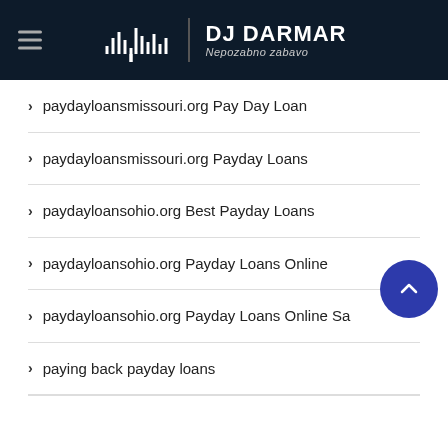DJ DARMAR – Nepozabno zabavo
paydayloansmissouri.org Pay Day Loan
paydayloansmissouri.org Payday Loans
paydayloansohio.org Best Payday Loans
paydayloansohio.org Payday Loans Online
paydayloansohio.org Payday Loans Online Sa…
paying back payday loans